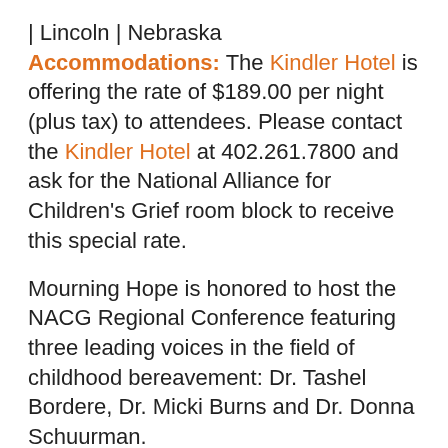| Lincoln | Nebraska Accommodations: The Kindler Hotel is offering the rate of $189.00 per night (plus tax) to attendees. Please contact the Kindler Hotel at 402.261.7800 and ask for the National Alliance for Children's Grief room block to receive this special rate.
Mourning Hope is honored to host the NACG Regional Conference featuring three leading voices in the field of childhood bereavement: Dr. Tashel Bordere, Dr. Micki Burns and Dr. Donna Schuurman.
Register for Conference
Conference Schedule